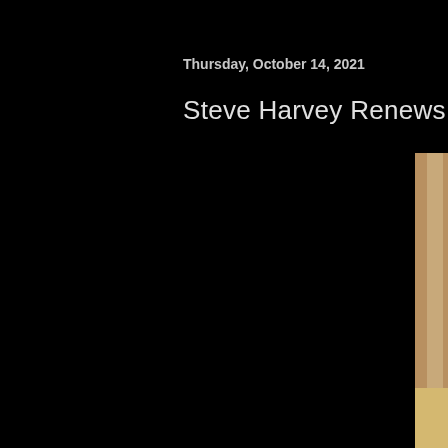Thursday, October 14, 2021
Steve Harvey Renews Radio Syndicat
[Figure (photo): Close-up photo of Steve Harvey smiling broadly, wearing a leopard-print shirt, photographed in front of a background with wooden paneling and a blue surface. He has a mustache and is looking directly at the camera.]